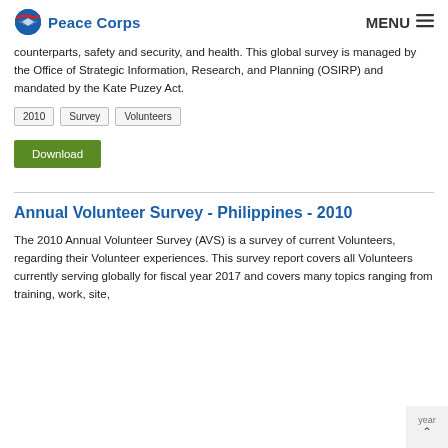Peace Corps | MENU
counterparts, safety and security, and health. This global survey is managed by the Office of Strategic Information, Research, and Planning (OSIRP) and mandated by the Kate Puzey Act.
2010
Survey
Volunteers
Download
Annual Volunteer Survey - Philippines - 2010
The 2010 Annual Volunteer Survey (AVS) is a survey of current Volunteers, regarding their Volunteer experiences. This survey report covers all Volunteers currently serving globally for fiscal year 2017 and covers many topics ranging from training, work, site,